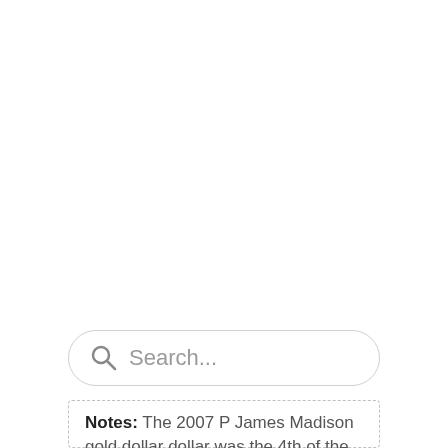[Figure (other): Search bar with magnifying glass icon and placeholder text 'Search...']
Notes: The 2007 P James Madison gold dollar dollar was the 4th of the